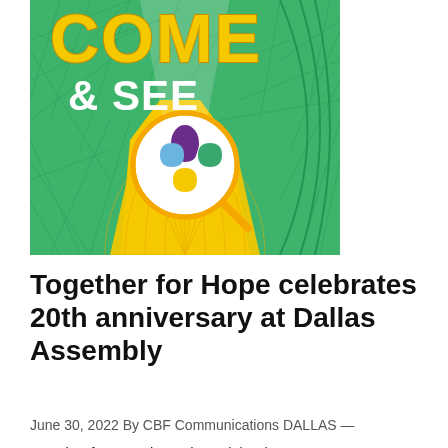[Figure (illustration): Come & See event graphic with bold yellow 'COME & SEE' text over a green and yellow geometric background, featuring a magnifying glass with a four-petal droplet logo (purple, blue, green, yellow) in the center.]
Together for Hope celebrates 20th anniversary at Dallas Assembly
June 30, 2022 By CBF Communications DALLAS —
Together for Hope hosted a Celebration Banquet on